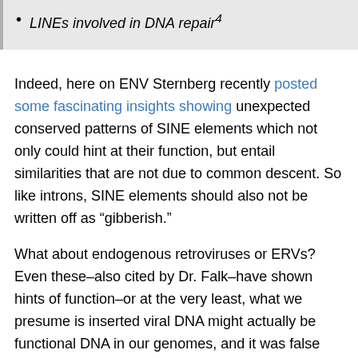LINEs involved in DNA repair⁴
Indeed, here on ENV Sternberg recently posted some fascinating insights showing unexpected conserved patterns of SINE elements which not only could hint at their function, but entail similarities that are not due to common descent. So like introns, SINE elements should also not be written off as "gibberish."
What about endogenous retroviruses or ERVs? Even these–also cited by Dr. Falk–have shown hints of function–or at the very least, what we presume is inserted viral DNA might actually be functional DNA in our genomes, and it was false evolutionary